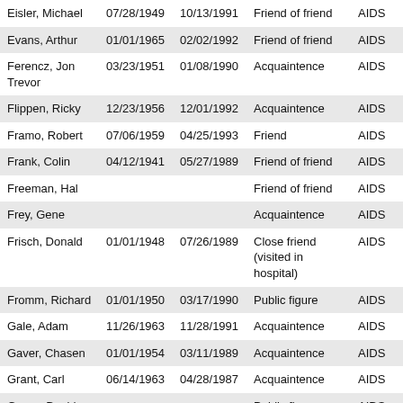| Eisler, Michael | 07/28/1949 | 10/13/1991 | Friend of friend | AIDS |
| Evans, Arthur | 01/01/1965 | 02/02/1992 | Friend of friend | AIDS |
| Ferencz, Jon Trevor | 03/23/1951 | 01/08/1990 | Acquaintence | AIDS |
| Flippen, Ricky | 12/23/1956 | 12/01/1992 | Acquaintence | AIDS |
| Framo, Robert | 07/06/1959 | 04/25/1993 | Friend | AIDS |
| Frank, Colin | 04/12/1941 | 05/27/1989 | Friend of friend | AIDS |
| Freeman, Hal |  |  | Friend of friend | AIDS |
| Frey, Gene |  |  | Acquaintence | AIDS |
| Frisch, Donald | 01/01/1948 | 07/26/1989 | Close friend (visited in hospital) | AIDS |
| Fromm, Richard | 01/01/1950 | 03/17/1990 | Public figure | AIDS |
| Gale, Adam | 11/26/1963 | 11/28/1991 | Acquaintence | AIDS |
| Gaver, Chasen | 01/01/1954 | 03/11/1989 | Acquaintence | AIDS |
| Grant, Carl | 06/14/1963 | 04/28/1987 | Acquaintence | AIDS |
| Green, David |  |  | Public figure | AIDS |
| Gregory, Mark | 10/15/1957 | 09/06/1986 | Close friend (visited in | AIDS |